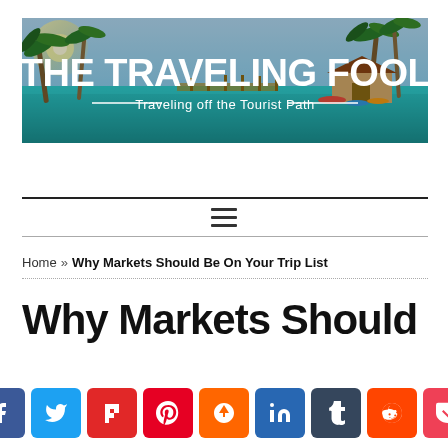[Figure (logo): The Traveling Fool website banner with tropical beach background showing palm trees and turquoise water, with bold white text 'THE TRAVELING FOOL' and subtitle '— Traveling off the Tourist Path —']
≡
Home » Why Markets Should Be On Your Trip List
Why Markets Should